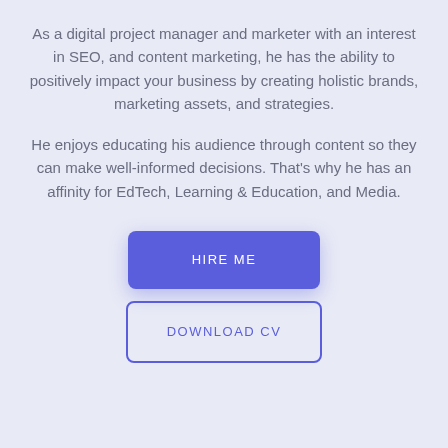As a digital project manager and marketer with an interest in SEO, and content marketing, he has the ability to positively impact your business by creating holistic brands, marketing assets, and strategies.
He enjoys educating his audience through content so they can make well-informed decisions. That's why he has an affinity for EdTech, Learning & Education, and Media.
HIRE ME
DOWNLOAD CV